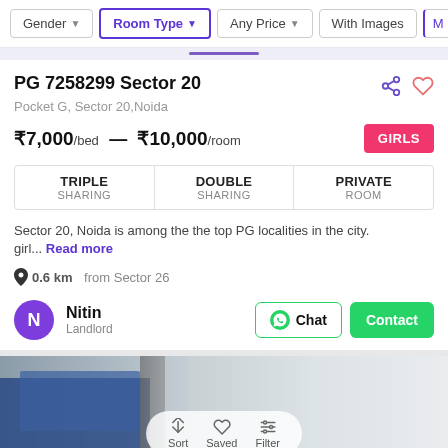Gender | Room Type | Any Price | With Images | M...
PG 7258299 Sector 20
Pocket G, Sector 20,Noida
₹7,000/bed — ₹10,000/room  GIRLS
| TRIPLE SHARING | DOUBLE SHARING | PRIVATE ROOM |
| --- | --- | --- |
Sector 20, Noida is among the the top PG localities in the city. girl... Read more
0.6 km from Sector 26
Nitin
Landlord
[Figure (photo): Blurred interior photo of a room with blue bed, used as background at bottom of page]